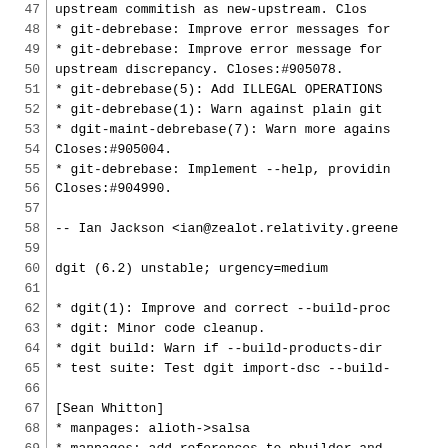Code/changelog listing lines 47-76 showing dgit Debian package changelog entries with git-debrebase and dgit version 6.2 changes